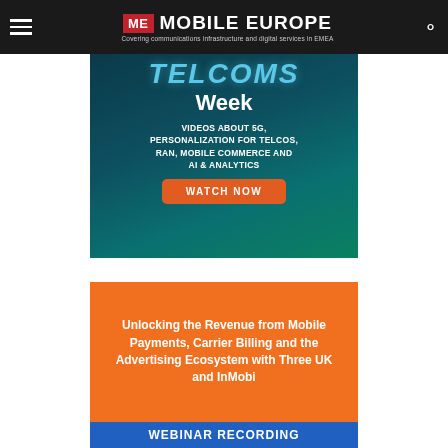ME MOBILE EUROPE — Covering communications infrastructure and digital services in EMEA
[Figure (illustration): Telcoms Week promotional banner: dark teal background with wavy lines, title 'TELCOMS Week' in cyan/white, text 'VIDEOS ABOUT 5G, PERSONALIZATION FOR TELCOS, RAN, MOBILE COMMERCE AND AI & ANALYTICS', orange 'WATCH NOW' button]
[Figure (illustration): Orange promotional card with white text: 'Unlocking the Revenue from Mobile Payments, Carrier Billing and the Advertising Ecosystem with Three UK and InMobi']
[Figure (illustration): Blue bar with white bold text: 'WEBINAR RECORDING']